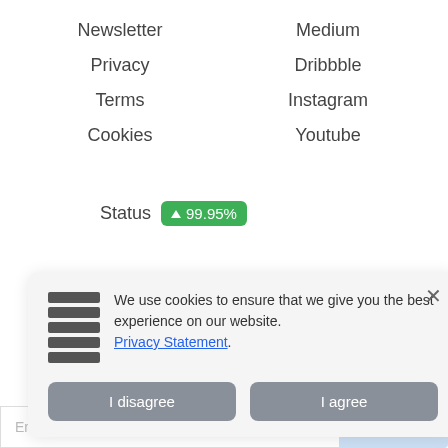Newsletter
Medium
Privacy
Dribbble
Terms
Instagram
Cookies
Youtube
Status ▲ 99.95%
Made by Designmodo.
We use cookies to ensure that we give you the best experience on our website. Privacy Statement.
I disagree
I agree
Enter your email...
Subscribe